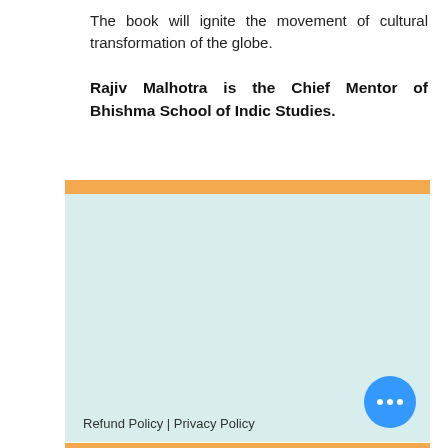The book will ignite the movement of cultural transformation of the globe.
Rajiv Malhotra is the Chief Mentor of Bhishma School of Indic Studies.
[Figure (other): Light teal/mint colored card area with orange top bar and footer showing Refund Policy | Privacy Policy links, with a blue circular button with three dots in bottom right corner.]
Refund Policy | Privacy Policy